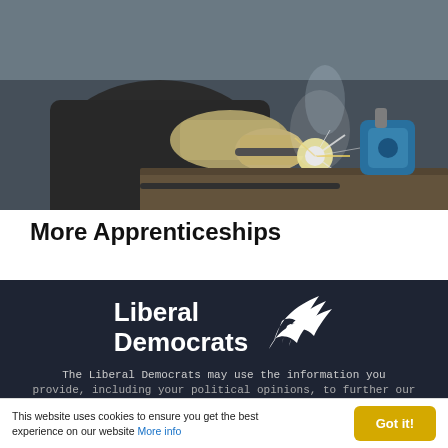[Figure (photo): A welder working with sparks flying, wearing protective gloves. Industrial welding scene with a blue tool in the background.]
More Apprenticeships
[Figure (logo): Liberal Democrats logo with bird/wing motif in white on dark background, text reading 'Liberal Democrats']
The Liberal Democrats may use the information you provide, including your political opinions, to further our
This website uses cookies to ensure you get the best experience on our website More info
Got it!